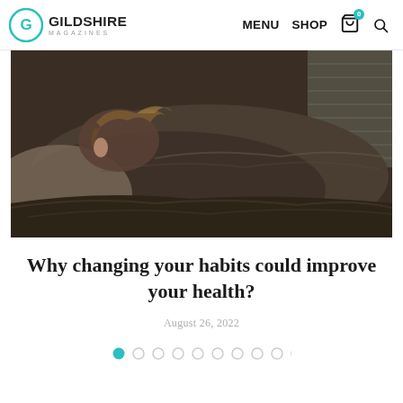Gildshire Magazines — MENU SHOP
[Figure (photo): A person lying face-down on a bed or couch, wrapped in a dark blanket, with messy hair pulled up, photographed from above in moody dark tones]
Why changing your habits could improve your health?
August 26, 2022
[Figure (other): Carousel navigation dots — 10 dots, first one filled teal, rest empty circles]